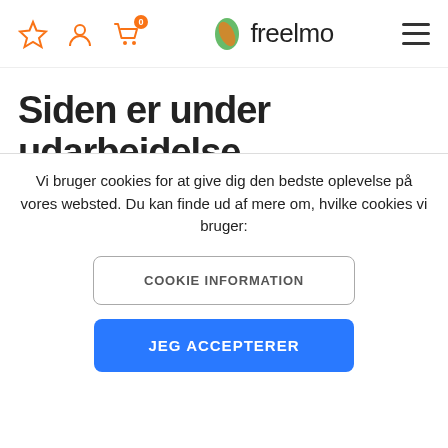[Figure (logo): Freelmo website header with star icon, user icon, cart icon with badge '0', freelmo logo with green/orange leaf, and hamburger menu]
Siden er under udarbejdelse.
Tilmeld dig vores nyhedsbrev
Få 10% rabat* på dit næste køb!
Vi bruger cookies for at give dig den bedste oplevelse på vores websted. Du kan finde ud af mere om, hvilke cookies vi bruger:
COOKIE INFORMATION
JEG ACCEPTERER